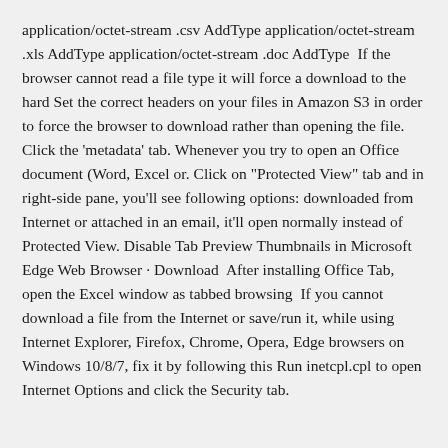application/octet-stream .csv AddType application/octet-stream .xls AddType application/octet-stream .doc AddType  If the browser cannot read a file type it will force a download to the hard Set the correct headers on your files in Amazon S3 in order to force the browser to download rather than opening the file. Click the 'metadata' tab. Whenever you try to open an Office document (Word, Excel or. Click on "Protected View" tab and in right-side pane, you'll see following options: downloaded from Internet or attached in an email, it'll open normally instead of Protected View. Disable Tab Preview Thumbnails in Microsoft Edge Web Browser · Download  After installing Office Tab, open the Excel window as tabbed browsing  If you cannot download a file from the Internet or save/run it, while using Internet Explorer, Firefox, Chrome, Opera, Edge browsers on Windows 10/8/7, fix it by following this Run inetcpl.cpl to open Internet Options and click the Security tab.